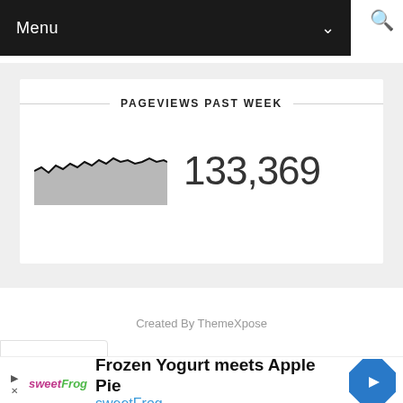Menu
PAGEVIEWS PAST WEEK
[Figure (area-chart): Small area/line chart thumbnail showing pageview trend over the past week, gray filled area with jagged black line on top]
133,369
Created By ThemeXpose
Frozen Yogurt meets Apple Pie
sweetFrog